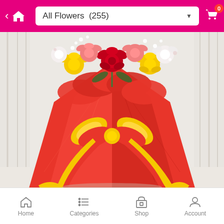All Flowers (255)
[Figure (photo): A bouquet of mixed roses (red, yellow, pink, white) wrapped in red paper packaging with a yellow and red decorative bow, photographed against a light curtain background.]
Home | Categories | Shop | Account